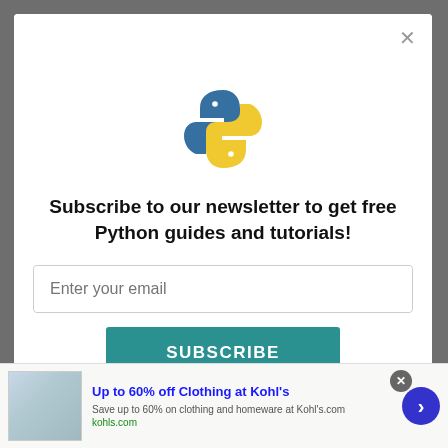[Figure (logo): Python logo — blue and yellow snake icon]
Subscribe to our newsletter to get free Python guides and tutorials!
Enter your email
SUBSCRIBE
Up to 60% off Clothing at Kohl's
Save up to 60% on clothing and homeware at Kohl's.com
kohls.com